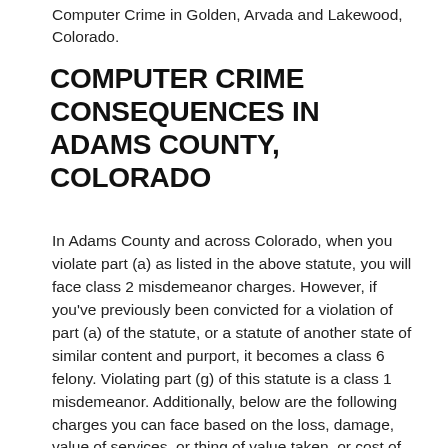Computer Crime in Golden, Arvada and Lakewood, Colorado.
COMPUTER CRIME CONSEQUENCES IN ADAMS COUNTY, COLORADO
In Adams County and across Colorado, when you violate part (a) as listed in the above statute, you will face class 2 misdemeanor charges. However, if you've previously been convicted for a violation of part (a) of the statute, or a statute of another state of similar content and purport, it becomes a class 6 felony. Violating part (g) of this statute is a class 1 misdemeanor. Additionally, below are the following charges you can face based on the loss, damage, value of services, or thing of value taken, or cost of restoration or repair caused by a violation of Computer Crime: